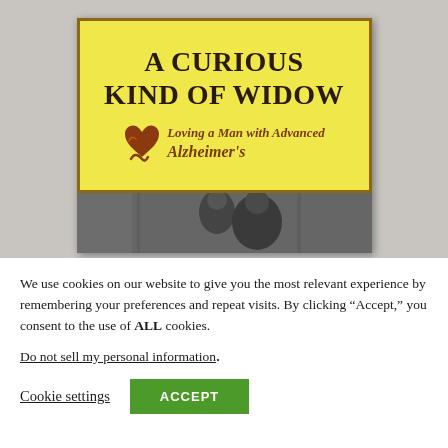[Figure (photo): Book cover for 'A Curious Kind of Widow: Loving a Man with Advanced Alzheimer's'. The upper portion shows a yellow background with dark brown serif title text and a heart-shaped decorative logo. The lower portion shows a black-and-white photograph of two people outdoors.]
We use cookies on our website to give you the most relevant experience by remembering your preferences and repeat visits. By clicking “Accept,” you consent to the use of ALL cookies.
Do not sell my personal information.
Cookie settings   ACCEPT